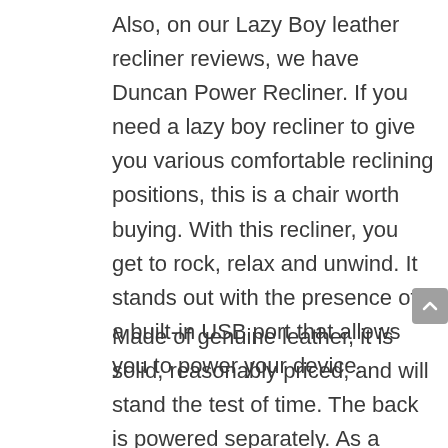Also, on our Lazy Boy leather recliner reviews, we have Duncan Power Recliner. If you need a lazy boy recliner to give you various comfortable reclining positions, this is a chair worth buying. With this recliner, you get to rock, relax and unwind. It stands out with the presence of a built-in USB port that allows you to power your device.
Made of genuine leather, it is solid, reasonably priced, and will stand the test of time. The back is powered separately. As a result, you can recline it to any